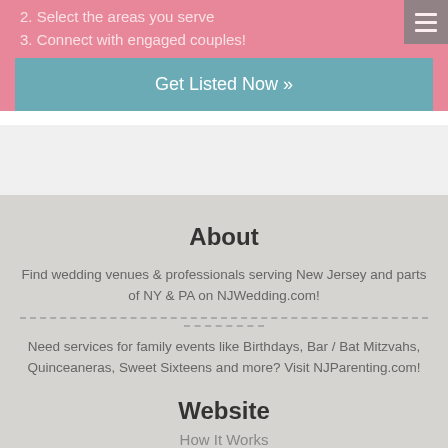2. Select the areas you serve
3. Connect with engaged couples!
Get Listed Now »
About
Find wedding venues & professionals serving New Jersey and parts of NY & PA on NJWedding.com!
Need services for family events like Birthdays, Bar / Bat Mitzvahs, Quinceaneras, Sweet Sixteens and more? Visit NJParenting.com!
Website
How It Works